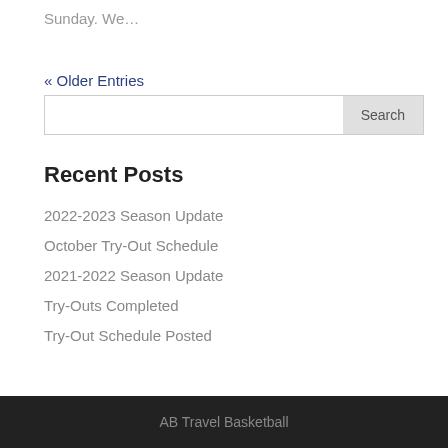Sunday. We…
« Older Entries
2022-2023 Season Update
October Try-Out Schedule
2021-2022 Season Update
Try-Outs Completed
Try-Out Schedule Posted
Recent Posts
AB Travel Basketball